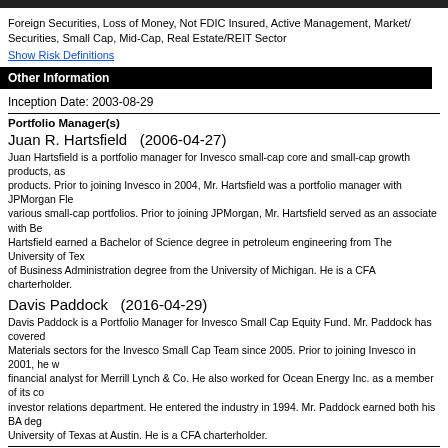Foreign Securities, Loss of Money, Not FDIC Insured, Active Management, Market/Securities, Small Cap, Mid-Cap, Real Estate/REIT Sector
Show Risk Definitions
Other Information
Inception Date: 2003-08-29
Portfolio Manager(s)
Juan R. Hartsfield   (2006-04-27)
Juan Hartsfield is a portfolio manager for Invesco small-cap core and small-cap growth products, as products. Prior to joining Invesco in 2004, Mr. Hartsfield was a portfolio manager with JPMorgan Fle various small-cap portfolios. Prior to joining JPMorgan, Mr. Hartsfield served as an associate with Be Hartsfield earned a Bachelor of Science degree in petroleum engineering from The University of Tex of Business Administration degree from the University of Michigan. He is a CFA charterholder.
Davis Paddock   (2016-04-29)
Davis Paddock is a Portfolio Manager for Invesco Small Cap Equity Fund. Mr. Paddock has covered Materials sectors for the Invesco Small Cap Team since 2005. Prior to joining Invesco in 2001, he w financial analyst for Merrill Lynch & Co. He also worked for Ocean Energy Inc. as a member of its co investor relations department. He entered the industry in 1994. Mr. Paddock earned both his BA deg University of Texas at Austin. He is a CFA charterholder.
Investment Advisor(s)
Invesco Advisers, Inc.
Issuer